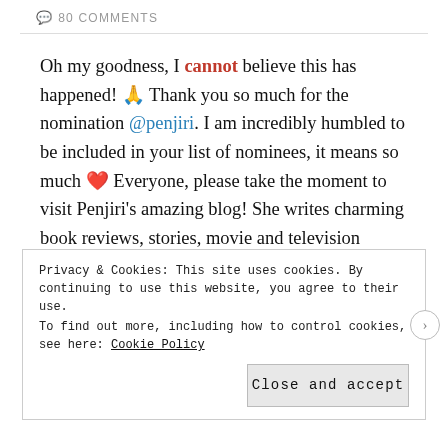80 COMMENTS
Oh my goodness, I cannot believe this has happened! 🙏 Thank you so much for the nomination @penjiri. I am incredibly humbled to be included in your list of nominees, it means so much ❤ Everyone, please take the moment to visit Penjiri's amazing blog! She writes charming book reviews, stories, movie and television recommendations, and more. You can also read the post for her second Sunshine Blogger Award here.
Privacy & Cookies: This site uses cookies. By continuing to use this website, you agree to their use.
To find out more, including how to control cookies, see here: Cookie Policy
Close and accept